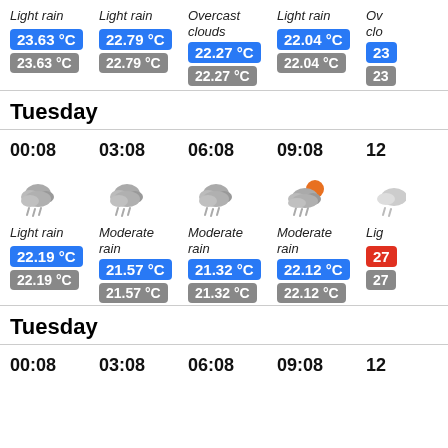| 00:08 (prev) | 03:08 (prev) | 06:08 (prev) | 09:08 (prev) | 12 (prev) |
| --- | --- | --- | --- | --- |
| Light rain | Light rain | Overcast clouds | Light rain | Ov...clo |
| 23.63 °C | 22.79 °C | 22.27 °C | 22.04 °C | 23... |
| 23.63 °C | 22.79 °C | 22.27 °C | 22.04 °C | 23... |
Tuesday
| 00:08 | 03:08 | 06:08 | 09:08 | 12 |
| --- | --- | --- | --- | --- |
| Light rain | Moderate rain | Moderate rain | Moderate rain | Lig... |
| 22.19 °C | 21.57 °C | 21.32 °C | 22.12 °C | 27... |
| 22.19 °C | 21.57 °C | 21.32 °C | 22.12 °C | 27... |
Tuesday
00:08  03:08  06:08  09:08  12